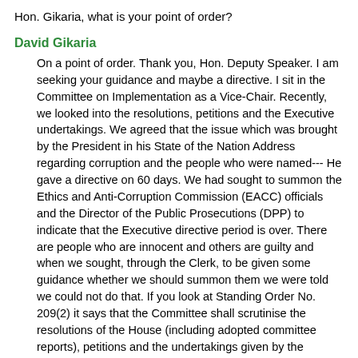Hon. Gikaria, what is your point of order?
David Gikaria
On a point of order. Thank you, Hon. Deputy Speaker. I am seeking your guidance and maybe a directive. I sit in the Committee on Implementation as a Vice-Chair. Recently, we looked into the resolutions, petitions and the Executive undertakings. We agreed that the issue which was brought by the President in his State of the Nation Address regarding corruption and the people who were named--- He gave a directive on 60 days. We had sought to summon the Ethics and Anti-Corruption Commission (EACC) officials and the Director of the Public Prosecutions (DPP) to indicate that the Executive directive period is over. There are people who are innocent and others are guilty and when we sought, through the Clerk, to be given some guidance whether we should summon them we were told we could not do that. If you look at Standing Order No. 209(2) it says that the Committee shall scrutinise the resolutions of the House (including adopted committee reports), petitions and the undertakings given by the national Executive, and examine--- It goes on from (a) to (c). Hon. Deputy Speaker, we were seeking your guidance as a Committee because when we sought to have the officials come to the Committee, we were told